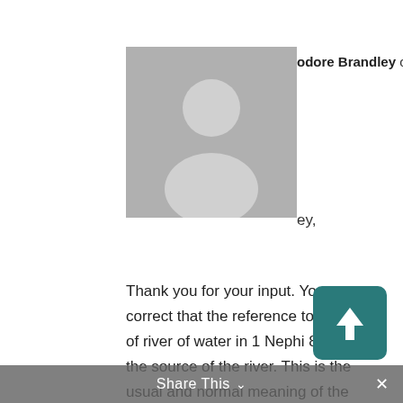[Figure (photo): Gray placeholder avatar silhouette icon with person outline on gray background]
odore Brandley on April 27, 2019 at 3:36
ey,
Thank you for your input. You are correct that the reference to the head of river of water in 1 Nephi 8:13-14 is the source of the river. This is the usual and normal meaning of the term. This was not written by Mormon but by Nephi and prior to the Nephites ever hearing about the Head of the River Sidon. We don't know what Mormon's “Reformed Egyptian” term was for the Head of the River Sidon, but the evidence is that it was translated into Early Modern
Share This ∨ ×